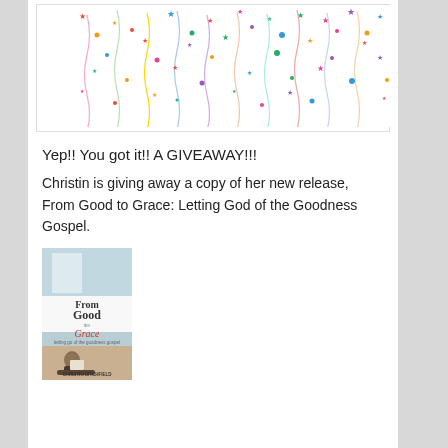[Figure (illustration): Colorful confetti celebration image with streamers, stars and dots falling on white background]
Yep!! You got it!! A GIVEAWAY!!!
Christin is giving away a copy of her new release, From Good to Grace: Letting God of the Goodness Gospel.
[Figure (photo): Book cover of 'From Good to Grace' showing a person sitting and reading, with teal/blue upper portion and warm lower portion]